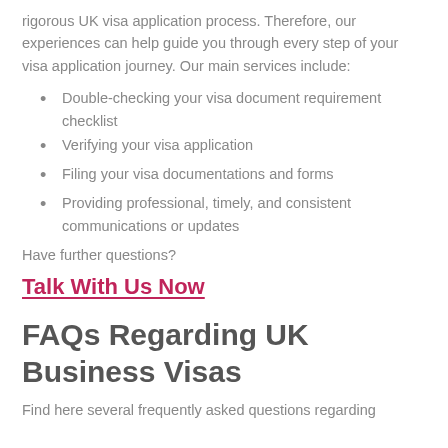rigorous UK visa application process. Therefore, our experiences can help guide you through every step of your visa application journey. Our main services include:
Double-checking your visa document requirement checklist
Verifying your visa application
Filing your visa documentations and forms
Providing professional, timely, and consistent communications or updates
Have further questions?
Talk With Us Now
FAQs Regarding UK Business Visas
Find here several frequently asked questions regarding